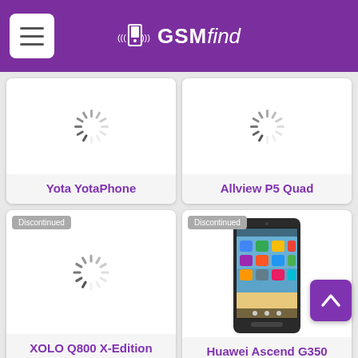GSMfind
[Figure (screenshot): Yota YotaPhone product card with loading spinner]
Yota YotaPhone
[Figure (screenshot): Allview P5 Quad product card with loading spinner]
Allview P5 Quad
[Figure (screenshot): XOLO Q800 X-Edition product card with loading spinner, Discontinued badge]
XOLO Q800 X-Edition
[Figure (photo): Huawei Ascend G350 product card with phone image, Discontinued badge]
Huawei Ascend G350